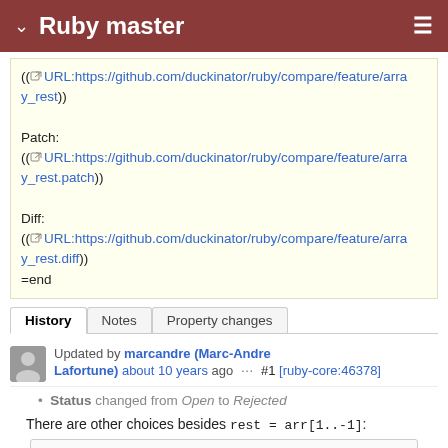Ruby master
((URL:https://github.com/duckinator/ruby/compare/feature/array_rest))

Patch:
((URL:https://github.com/duckinator/ruby/compare/feature/array_rest.patch))

Diff:
((URL:https://github.com/duckinator/ruby/compare/feature/array_rest.diff))
=end
History | Notes | Property changes
Updated by marcandre (Marc-Andre Lafortune) about 10 years ago  ···  #1  [ruby-core:46378]
Status changed from Open to Rejected
There are other choices besides rest = arr[1..-1]:
rest = arr.drop(1)